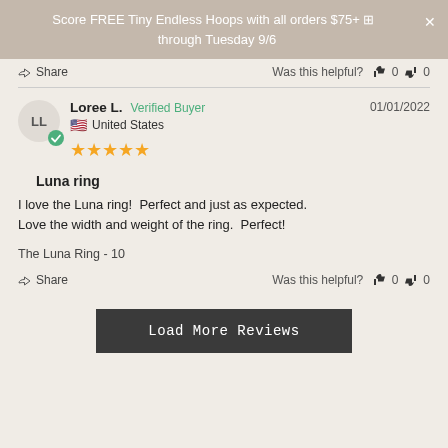Score FREE Tiny Endless Hoops with all orders $75+ through Tuesday 9/6
Share  Was this helpful?  0  0
Loree L.  Verified Buyer  01/01/2022  United States  ★★★★★
Luna ring
I love the Luna ring!  Perfect and just as expected.  Love the width and weight of the ring.  Perfect!
The Luna Ring - 10
Share  Was this helpful?  0  0
Load More Reviews